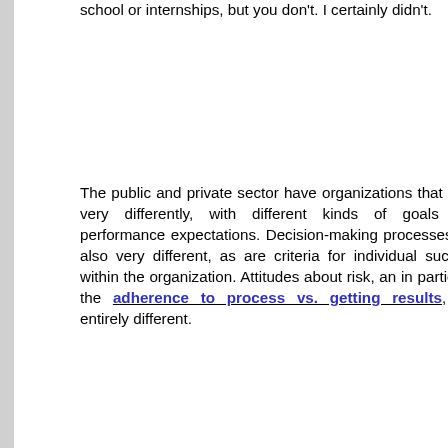school or internships, but you don't. I certainly didn't.
The public and private sector have organizations that work very differently, with different kinds of goals and performance expectations. Decision-making processes are also very different, as are criteria for individual success within the organization. Attitudes about risk, an in particular the adherence to process vs. getting results, are entirely different.